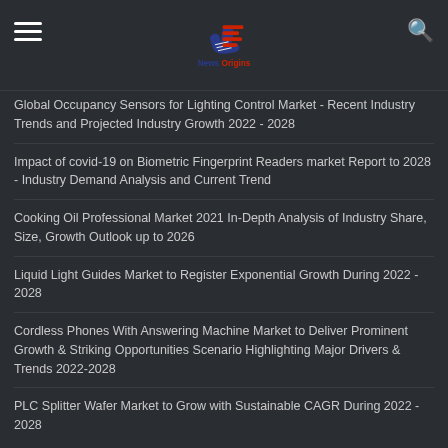News Origins
Global Occupancy Sensors for Lighting Control Market - Recent Industry Trends and Projected Industry Growth 2022 - 2028
Impact of covid-19 on Biometric Fingerprint Readers market Report to 2028 - Industry Demand Analysis and Current Trend
Cooking Oil Professional Market 2021 In-Depth Analysis of Industry Share, Size, Growth Outlook up to 2026
Liquid Light Guides Market to Register Exponential Growth During 2022 - 2028
Cordless Phones With Answering Machine Market to Deliver Prominent Growth & Striking Opportunities Scenario Highlighting Major Drivers & Trends 2022-2028
PLC Splitter Wafer Market to Grow with Sustainable CAGR During 2022 - 2028